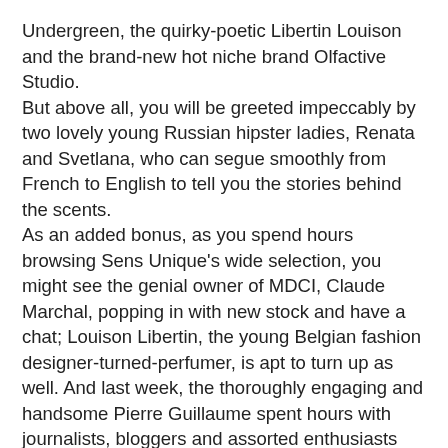Undergreen, the quirky-poetic Libertin Louison and the brand-new hot niche brand Olfactive Studio. But above all, you will be greeted impeccably by two lovely young Russian hipster ladies, Renata and Svetlana, who can segue smoothly from French to English to tell you the stories behind the scents. As an added bonus, as you spend hours browsing Sens Unique's wide selection, you might see the genial owner of MDCI, Claude Marchal, popping in with new stock and have a chat; Louison Libertin, the young Belgian fashion designer-turned-perfumer, is apt to turn up as well. And last week, the thoroughly engaging and handsome Pierre Guillaume spent hours with journalists, bloggers and assorted enthusiasts chatting about perfume and testing an accord he's working on… Better still: if the shop is humming and the conversation going stong, Renata and Svetlana think nothing of keeping the shop open way past the usual hours: the Marais, which is the gay quarter of Paris, is full of cafés and bars and therefore evening customers… Getting there is easy: take the metro, Line 1 (La Défense-Château de Vincennes), get off at Métro Saint-Paul, cross